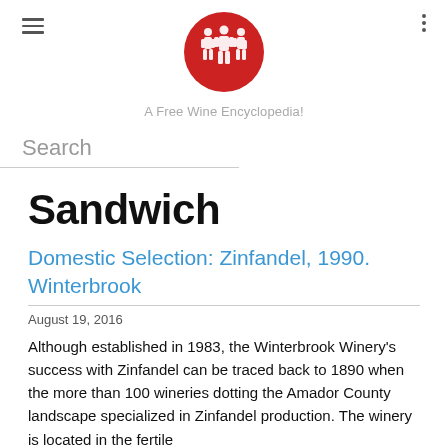[Figure (logo): Red circular logo with white illustrated figures of people, for a wine encyclopedia website]
A Free Wine Encyclopedia!
Search
Sandwich
Domestic Selection: Zinfandel, 1990. Winterbrook
August 19, 2016
Although established in 1983, the Winterbrook Winery's success with Zinfandel can be traced back to 1890 when the more than 100 wineries dotting the Amador County landscape specialized in Zinfandel production. The winery is located in the fertile